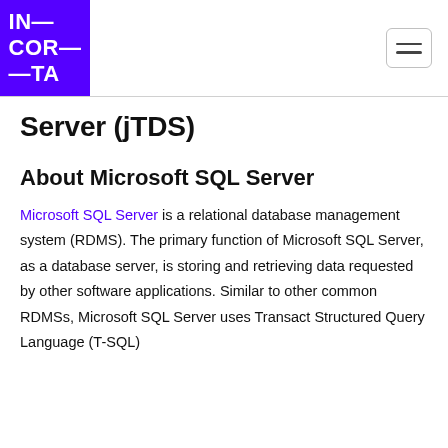IN—
COR—
—TA
Server (jTDS)
About Microsoft SQL Server
Microsoft SQL Server is a relational database management system (RDMS). The primary function of Microsoft SQL Server, as a database server, is storing and retrieving data requested by other software applications. Similar to other common RDMSs, Microsoft SQL Server uses Transact Structured Query Language (T-SQL)